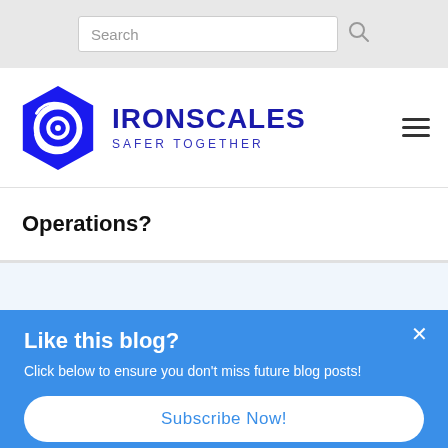Search
[Figure (logo): IRONSCALES logo with blue hexagon containing an @ symbol and text IRONSCALES SAFER TOGETHER]
Operations?
Like this blog?
Click below to ensure you don't miss future blog posts!
Subscribe Now!